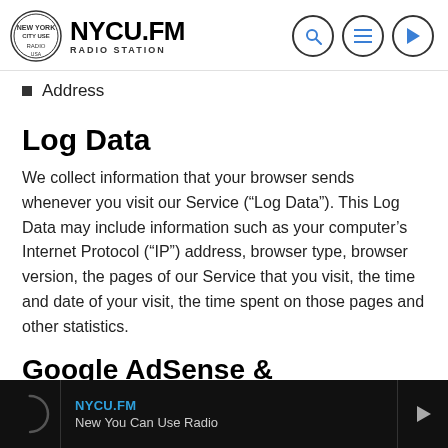[Figure (logo): NYCU.FM Radio Station logo with circular emblem on the left and three navigation icon circles (search, menu, play) on the right]
Address
Log Data
We collect information that your browser sends whenever you visit our Service (“Log Data”). This Log Data may include information such as your computer’s Internet Protocol (“IP”) address, browser type, browser version, the pages of our Service that you visit, the time and date of your visit, the time spent on those pages and other statistics.
Google AdSense & DoubleClick Cookie
NYCU.FM New You Can Use Radio